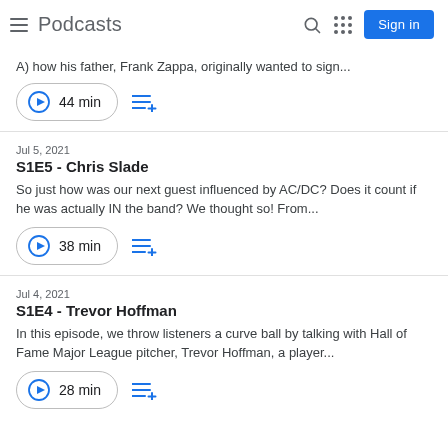Podcasts
A) how his father, Frank Zappa, originally wanted to sign...
44 min
Jul 5, 2021
S1E5 - Chris Slade
So just how was our next guest influenced by AC/DC? Does it count if he was actually IN the band? We thought so! From...
38 min
Jul 4, 2021
S1E4 - Trevor Hoffman
In this episode, we throw listeners a curve ball by talking with Hall of Fame Major League pitcher, Trevor Hoffman, a player...
28 min